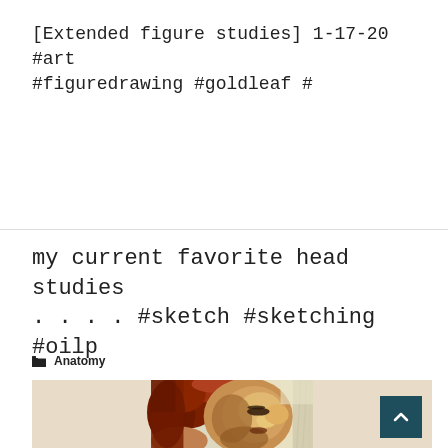[Extended figure studies] 1-17-20 #art #figuredrawing #goldleaf #
Read More »
my current favorite head studies . . . . #sketch #sketching #oilp
Anatomy
[Figure (illustration): Oil painting or painted head study of a person shown in profile/three-quarter view, with reddish-brown hair and warm skin tones, painted in an impressionistic style.]